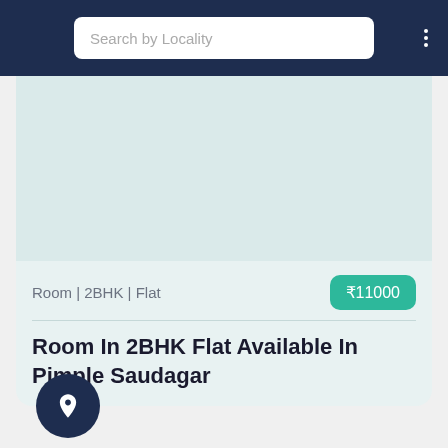Search by Locality
[Figure (screenshot): Listing card image area with light teal background representing property photo placeholder]
Room | 2BHK | Flat
₹11000
Room In 2BHK Flat Available In Pimple Saudagar